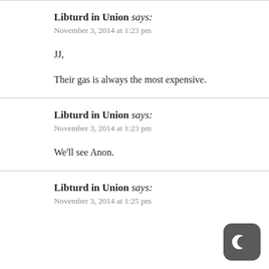Libturd in Union says:
November 3, 2014 at 1:23 pm
JJ,
Their gas is always the most expensive.
Libturd in Union says:
November 3, 2014 at 1:23 pm
We'll see Anon.
Libturd in Union says:
November 3, 2014 at 1:25 pm
[Figure (illustration): Dark rounded square icon with a crescent moon symbol]